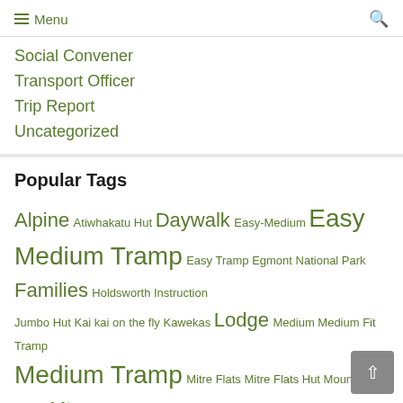Menu
Social Convener
Transport Officer
Trip Report
Uncategorized
Popular Tags
Alpine Atiwhakatu Hut Daywalk Easy-Medium Easy Medium Tramp Easy Tramp Egmont National Park Families Holdsworth Instruction Jumbo Hut Kai kai on the fly Kawekas Lodge Medium Medium Fit Tramp Medium Tramp Mitre Flats Mitre Flats Hut Mountain Biking Mt Ruapehu Mt Taranaki Navigation Nelson Lakes Orongorongos